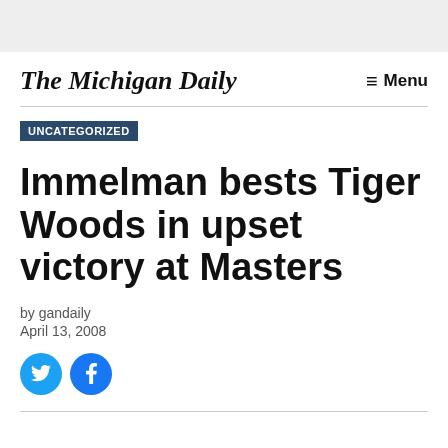The Michigan Daily
UNCATEGORIZED
Immelman bests Tiger Woods in upset victory at Masters
by gandaily
April 13, 2008